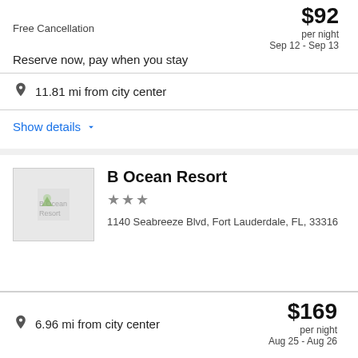Free Cancellation
Reserve now, pay when you stay
$92 per night Sep 12 - Sep 13
11.81 mi from city center
Show details
B Ocean Resort
★★★
1140 Seabreeze Blvd, Fort Lauderdale, FL, 33316
6.96 mi from city center
$169 per night Aug 25 - Aug 26
Choose your dates